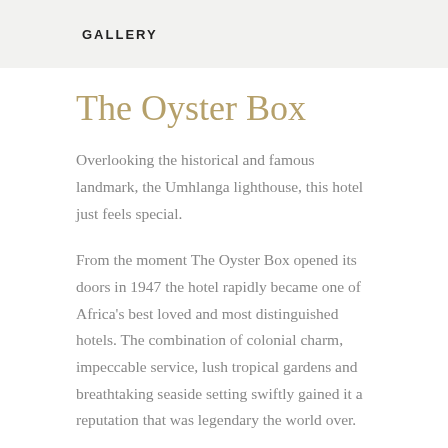GALLERY
The Oyster Box
Overlooking the historical and famous landmark, the Umhlanga lighthouse, this hotel just feels special.
From the moment The Oyster Box opened its doors in 1947 the hotel rapidly became one of Africa's best loved and most distinguished hotels. The combination of colonial charm, impeccable service, lush tropical gardens and breathtaking seaside setting swiftly gained it a reputation that was legendary the world over.